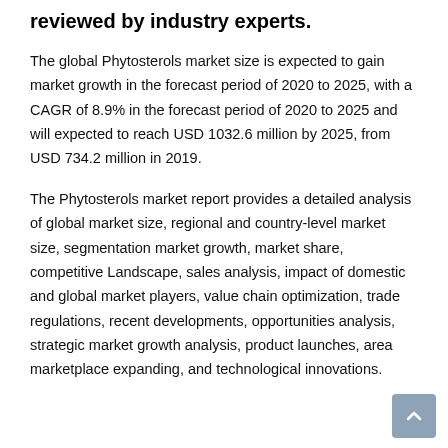reviewed by industry experts.
The global Phytosterols market size is expected to gain market growth in the forecast period of 2020 to 2025, with a CAGR of 8.9% in the forecast period of 2020 to 2025 and will expected to reach USD 1032.6 million by 2025, from USD 734.2 million in 2019.
The Phytosterols market report provides a detailed analysis of global market size, regional and country-level market size, segmentation market growth, market share, competitive Landscape, sales analysis, impact of domestic and global market players, value chain optimization, trade regulations, recent developments, opportunities analysis, strategic market growth analysis, product launches, area marketplace expanding, and technological innovations.